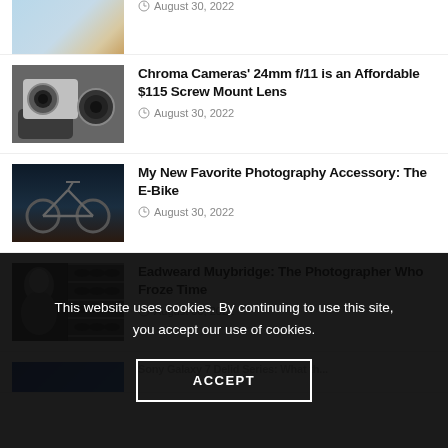[Figure (photo): Partial thumbnail of first article (cut off at top)]
August 30, 2022
[Figure (photo): Camera with detached lens on hand]
Chroma Cameras’ 24mm f/11 is an Affordable $115 Screw Mount Lens
August 30, 2022
[Figure (photo): E-Bike against dark background]
My New Favorite Photography Accessory: The E-Bike
August 30, 2022
[Figure (photo): Eadweard Muybridge portrait with motion sequence strips]
Eadweard Muybridge: The Photographer Who Froze Time
August 30, 2022
[Figure (photo): Partial thumbnail of last article (cut off at bottom)]
This website uses cookies. By continuing to use this site, you accept our use of cookies.
ACCEPT